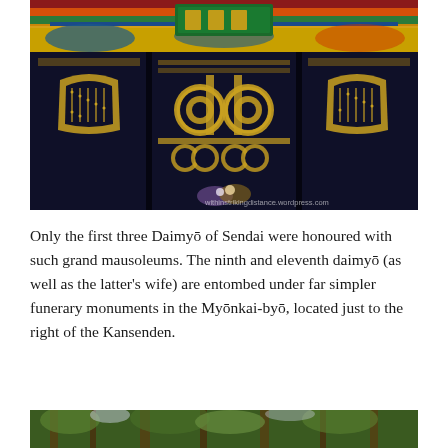[Figure (photo): Close-up photograph of ornate Japanese shrine gate doors with dark navy/black lacquered wood panels decorated with gold motifs, crests and metalwork. The upper portion shows colorful decorative eaves with red, green, gold and blue paintwork, and a green sign board with gold Chinese/Japanese characters. A watermark reads 'withinstrikingdistance.wordpress.com'.]
Only the first three Daimyō of Sendai were honoured with such grand mausoleums. The ninth and eleventh daimyō (as well as the latter's wife) are entombed under far simpler funerary monuments in the Myōnkai-byō, located just to the right of the Kansenden.
[Figure (photo): Partial view of a forested area with tall trees, appears to be a Japanese temple or shrine complex in a wooded setting.]